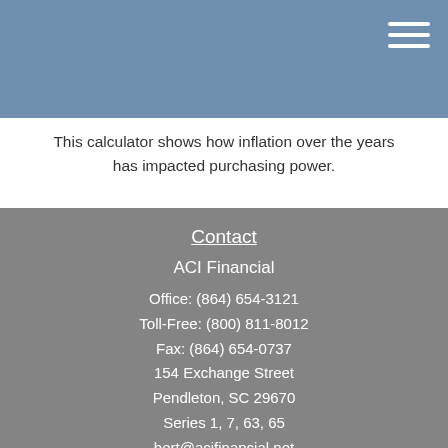This calculator shows how inflation over the years has impacted purchasing power.
Contact
ACI Financial
Office: (864) 654-3121
Toll-Free: (800) 811-8012
Fax: (864) 654-0737
154 Exchange Street
Pendleton, SC 29670
Series 1, 7, 63, 65
bert@acifinancial.net